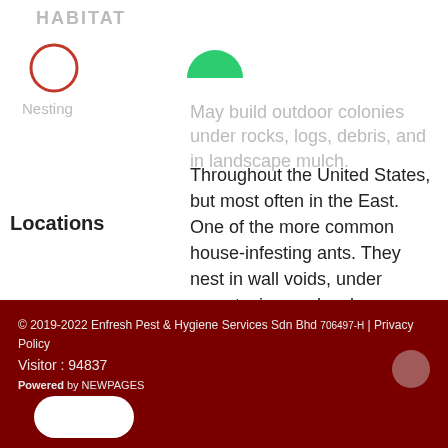HABITAT
Nesting
May build outdoor colonies under rocks, logs, debris, and in landscape mulch.
Locations
Throughout the United States, but most often in the East. One of the more common house-infesting ants. They nest in wall voids, under carpets, in woodwork, decaying wood, and masonry. Forages to indoor food sources along baseboards and carpet edges.
© 2019-2022 Enfresh Pest & Hygiene Services Sdn Bhd 706497-H | Privacy Policy Visitor : 94837 Powered by NEWPAGES